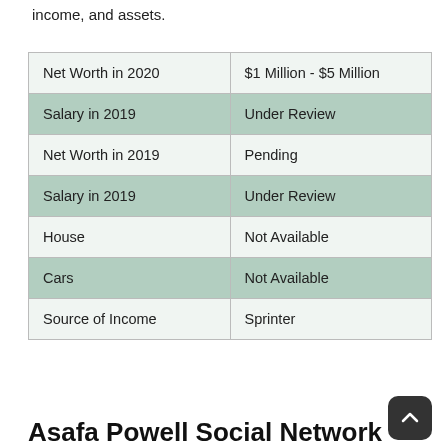income, and assets.
|  |  |
| --- | --- |
| Net Worth in 2020 | $1 Million - $5 Million |
| Salary in 2019 | Under Review |
| Net Worth in 2019 | Pending |
| Salary in 2019 | Under Review |
| House | Not Available |
| Cars | Not Available |
| Source of Income | Sprinter |
Asafa Powell Social Network